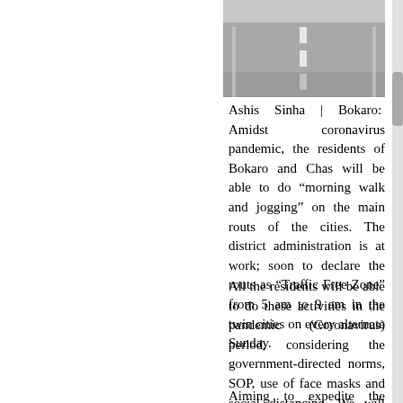[Figure (photo): Photograph of a road or highway, showing asphalt surface with white lane markings, taken from above or at an angle. The image is partially cropped at the top of the page.]
Ashis Sinha | Bokaro: Amidst coronavirus pandemic, the residents of Bokaro and Chas will be able to do "morning walk and jogging" on the main routs of the cities. The district administration is at work; soon to declare the routs as "Traffic Free Zone" from 5 am to 9 am in the twin cities on every alternate Sunday.
All the residents will be able to do these activities in the pandemic (Coronavirus) period, considering the government-directed norms, SOP, use of face masks and social distancing. We will announce the program very soon, informed Rajesh Kumar Singh, Deputy Commissioner Bokaro.
Aiming to expedite the activities under